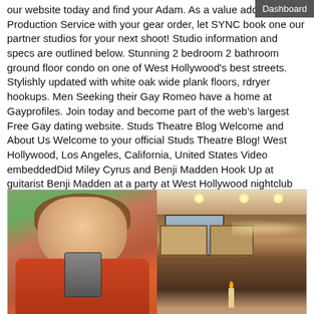our website today and find your Adam. As a value added Production Service with your gear order, let SYNC book one our partner studios for your next shoot! Studio information and specs are outlined below. Stunning 2 bedroom 2 bathroom ground floor condo on one of West Hollywood's best streets. Stylishly updated with white oak wide plank floors, rdryer hookups. Men Seeking their Gay Romeo have a home at Gayprofiles. Join today and become part of the web's largest Free Gay dating website. Studs Theatre Blog Welcome and About Us Welcome to your official Studs Theatre Blog! West Hollywood, Los Angeles, California, United States Video embeddedDid Miley Cyrus and Benji Madden Hook Up at guitarist Benji Madden at a party at West Hollywood nightclub Bootsy Bellows hook up. N Poinsettia Pl, West Hollywood, CA Equipment: Alarm System, RangeOven, Hood Fan, Stackable WD Hookup. Jack Mackenroth Strips Naked 4 new Positive Hookup Site Jack Mackenroth has officially teamed up with VOLTTAGE.
[Figure (photo): Two photos side by side: left shows a young man with brown hair wearing an orange/red shirt taking a selfie; right shows an interior of a bar or restaurant with warm lighting, ceiling lights, framed pictures on wall, and a candle.]